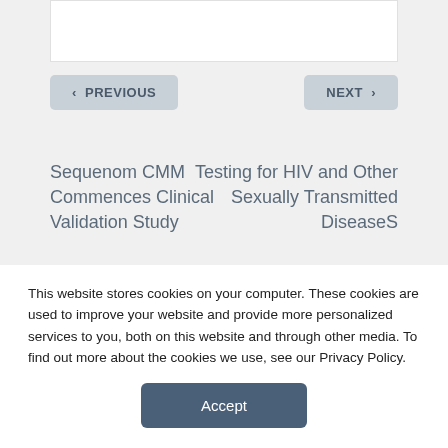< PREVIOUS
NEXT >
Sequenom CMM Commences Clinical Validation Study
Testing for HIV and Other Sexually Transmitted DiseaseS
RELATED POSTS
This website stores cookies on your computer. These cookies are used to improve your website and provide more personalized services to you, both on this website and through other media. To find out more about the cookies we use, see our Privacy Policy.
Accept